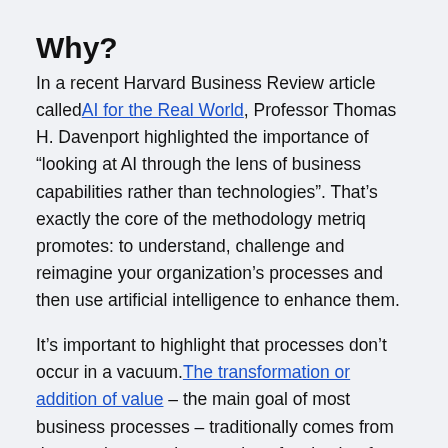Why?
In a recent Harvard Business Review article called AI for the Real World, Professor Thomas H. Davenport highlighted the importance of “looking at AI through the lens of business capabilities rather than technologies”. That’s exactly the core of the methodology metriq promotes: to understand, challenge and reimagine your organization’s processes and then use artificial intelligence to enhance them.
It’s important to highlight that processes don’t occur in a vacuum. The transformation or addition of value – the main goal of most business processes – traditionally comes from the people executing a series of tasks that form a given process. This is where artificial intelligence plays a crucial role.